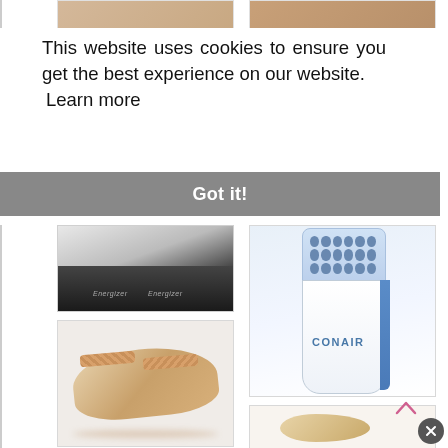[Figure (photo): Top row showing partial product images — sandals/shoes at the top of the page]
This website uses cookies to ensure you get the best experience on our website.
 Learn more
[Figure (screenshot): Got it! cookie consent button bar (gray background, white text)]
[Figure (photo): Product image: Energizer batteries / black electronic device]
[Figure (photo): Conair electric foot file / callus remover device — white body with blue stripe and blue head]
[Figure (photo): Woven crossover slide sandal in tan/beige herringbone pattern]
[Figure (photo): Partial product image at bottom right — shoe/sandal on white background]
[Figure (photo): Partial product image at bottom left — white/light colored item]